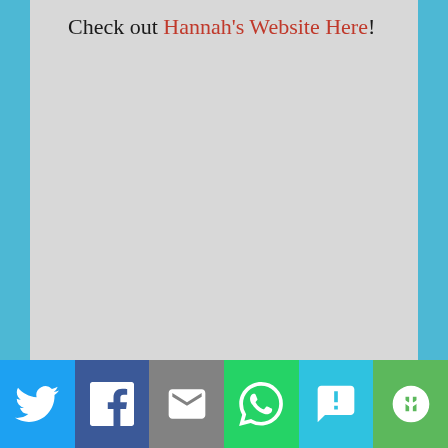Check out Hannah's Website Here!
[Figure (other): Social share bar with Twitter, Facebook, Email, WhatsApp, SMS, and More buttons]